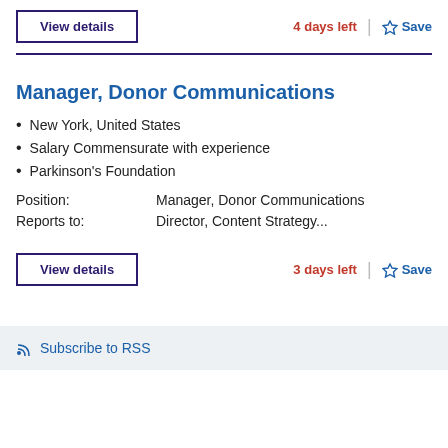View details | 4 days left | Save
Manager, Donor Communications
New York, United States
Salary Commensurate with experience
Parkinson's Foundation
Position: Manager, Donor Communications
Reports to: Director, Content Strategy...
View details | 3 days left | Save
Subscribe to RSS